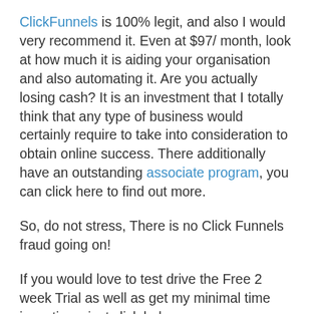ClickFunnels is 100% legit, and also I would very recommend it. Even at $97/ month, look at how much it is aiding your organisation and also automating it. Are you actually losing cash? It is an investment that I totally think that any type of business would certainly require to take into consideration to obtain online success. There additionally have an outstanding associate program, you can click here to find out more.
So, do not stress, There is no Click Funnels fraud going on!
If you would love to test drive the Free 2 week Trial as well as get my minimal time incentives, just click below.